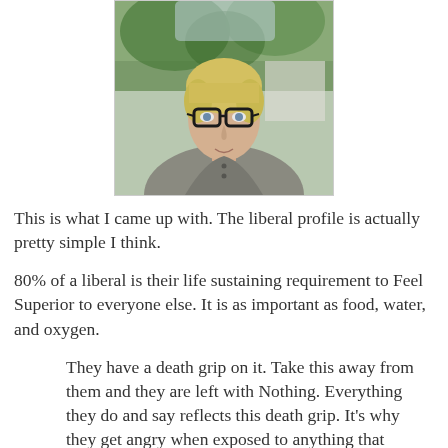[Figure (photo): A woman with short blonde hair and thick black-rimmed glasses, wearing a grey top, photographed outdoors with trees in the background.]
This is what I came up with.  The liberal profile is actually pretty simple I think.
80% of a liberal is their life sustaining requirement to Feel Superior to everyone else.  It is as important as food, water, and oxygen.
They have a death grip on it.  Take this away from them and they are left with Nothing.  Everything they do and say reflects this death grip.  It's why they get angry when exposed to anything that threatens this.